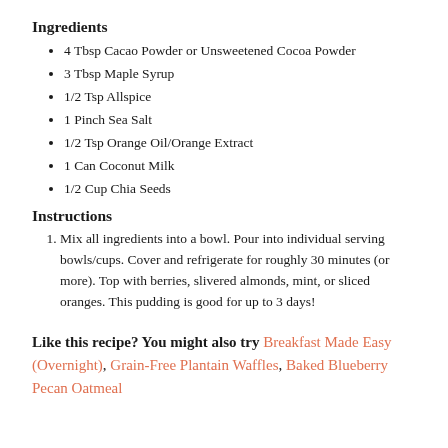Ingredients
4 Tbsp Cacao Powder or Unsweetened Cocoa Powder
3 Tbsp Maple Syrup
1/2 Tsp Allspice
1 Pinch Sea Salt
1/2 Tsp Orange Oil/Orange Extract
1 Can Coconut Milk
1/2 Cup Chia Seeds
Instructions
Mix all ingredients into a bowl. Pour into individual serving bowls/cups. Cover and refrigerate for roughly 30 minutes (or more). Top with berries, slivered almonds, mint, or sliced oranges. This pudding is good for up to 3 days!
Like this recipe? You might also try Breakfast Made Easy (Overnight), Grain-Free Plantain Waffles, Baked Blueberry Pecan Oatmeal